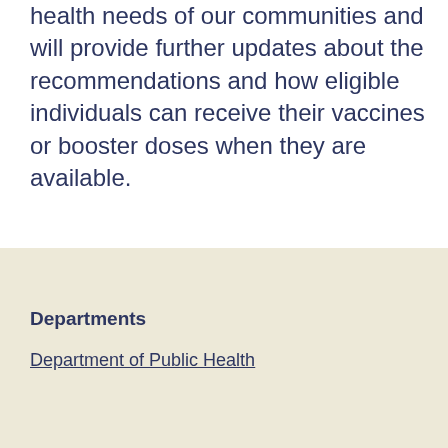health needs of our communities and will provide further updates about the recommendations and how eligible individuals can receive their vaccines or booster doses when they are available.
Departments
Department of Public Health